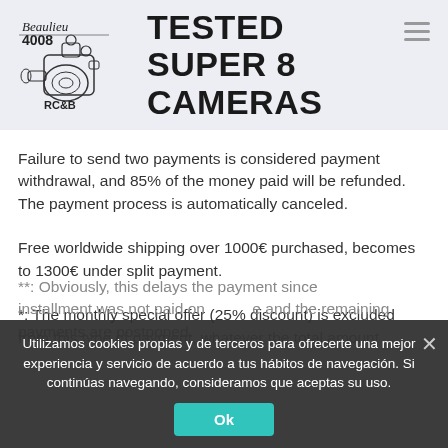[Figure (logo): Beaulieu 4008 RC&B camera illustration with text 'TESTED SUPER 8 CAMERAS']
Failure to send two payments is considered payment withdrawal, and 85% of the money paid will be refunded. The payment process is automatically canceled.
Free worldwide shipping over 1000€ purchased, becomes to 1300€ under split payment.
*: The monthly special offer (25% discount) is excluded from this type of payment, whatever the total amount (continues below overlay)
**: Obviously, this delays the payment since installment was not paid on time and the remaining payments are postponed.
Utilizamos cookies propias y de terceros para ofrecerte una mejor experiencia y servicio de acuerdo a tus hábitos de navegación. Si continúas navegando, consideramos que aceptas su uso.